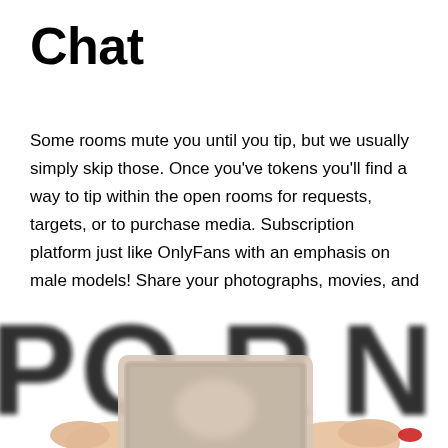Chat
Some rooms mute you until you tip, but we usually simply skip those. Once you've tokens you'll find a way to tip within the open rooms for requests, targets, or to purchase media. Subscription platform just like OnlyFans with an emphasis on male models! Share your photographs, movies, and stories, plus receive tips!
[Figure (photo): Blurred image showing large bold text spelling 'PORN' in the background with hands holding a smartphone displaying content in the foreground.]